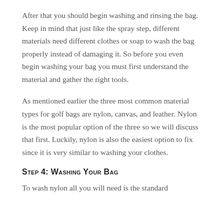After that you should begin washing and rinsing the bag. Keep in mind that just like the spray step, different materials need different clothes or soap to wash the bag properly instead of damaging it. So before you even begin washing your bag you must first understand the material and gather the right tools.
As mentioned earlier the three most common material types for golf bags are nylon, canvas, and leather. Nylon is the most popular option of the three so we will discuss that first. Luckily, nylon is also the easiest option to fix since it is very similar to washing your clothes.
Step 4: Washing Your Bag
To wash nylon all you will need is the standard